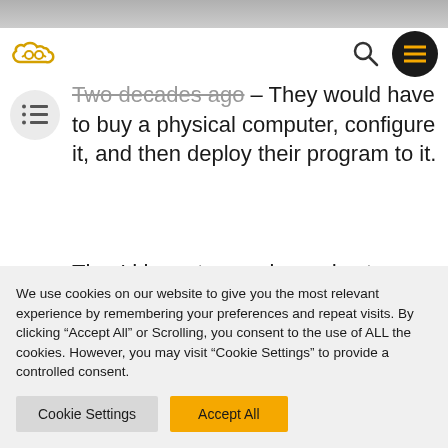[Figure (screenshot): Top image bar (partial photo)]
[Figure (logo): Cloud with glasses logo icon in yellow/gold]
[Figure (other): Search icon and dark circular hamburger menu button]
[Figure (other): Circular list/nav icon on grey background]
Two decades ago – They would have to buy a physical computer, configure it, and then deploy their program to it.
They'd have to acquire and set up additional servers if they needed to upload multiple programs. Everything was completed on-site, or on-prem.
We use cookies on our website to give you the most relevant experience by remembering your preferences and repeat visits. By clicking “Accept All” or Scrolling, you consent to the use of ALL the cookies. However, you may visit “Cookie Settings” to provide a controlled consent.